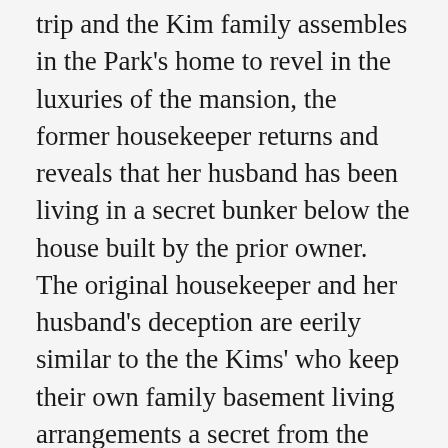trip and the Kim family assembles in the Park's home to revel in the luxuries of the mansion, the former housekeeper returns and reveals that her husband has been living in a secret bunker below the house built by the prior owner. The original housekeeper and her husband's deception are eerily similar to the the Kims' who keep their own family basement living arrangements a secret from the Parks. After bad weather disrupts the camping trip, the Parks return home early and a melee breaks out in the Parks' house. After several more plot turns in which a member of the Parks family, the Kim family, and the original staff's family are killed, the movie ends in the Kims' basement apartment where the son, Ki-woo, is writing a letter to his father, vowing to earn enough